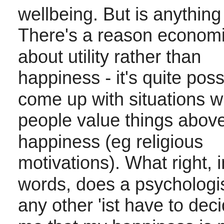wellbeing. But is anything better? There's a reason economists talk about utility rather than happiness - it's quite possible to come up with situations where people value things above happiness (eg religious motivations). What right, in other words, does a psychologist, or any other 'ist have to decide for me that my happiness is more important than my choices?
And, well, I've read a bunch of the psychology literature about our psychology, and nothing in that implies to me that psychologists, or economic behavioural scientists, are